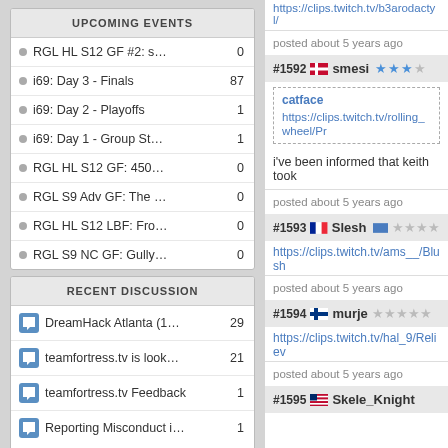UPCOMING EVENTS
RGL HL S12 GF #2: s…
i69: Day 3 - Finals
i69: Day 2 - Playoffs
i69: Day 1 - Group St…
RGL HL S12 GF: 450…
RGL S9 Adv GF: The …
RGL HL S12 LBF: Fro…
RGL S9 NC GF: Gully…
RECENT DISCUSSION
DreamHack Atlanta (1…
teamfortress.tv is look…
teamfortress.tv Feedback
Reporting Misconduct i…
https://clips.twitch.tv/b3arodactyl/
posted about 5 years ago
#1592 smesi
catface
https://clips.twitch.tv/rolling_wheel/Pr
i've been informed that keith took
posted about 5 years ago
#1593 Slesh
https://clips.twitch.tv/ams__/Blush
posted about 5 years ago
#1594 murje
https://clips.twitch.tv/hal_9/Reliev
posted about 5 years ago
#1595 Skele_Knight